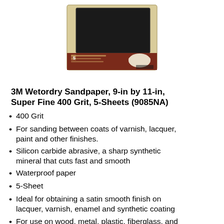[Figure (photo): Product photo of 3M Wetordry Sandpaper package showing a sandpaper sheet (black/dark surface with beige/tan backing) and a hand sanding wood on the lower portion of the package label.]
3M Wetordry Sandpaper, 9-in by 11-in, Super Fine 400 Grit, 5-Sheets (9085NA)
400 Grit
For sanding between coats of varnish, lacquer, paint and other finishes.
Silicon carbide abrasive, a sharp synthetic mineral that cuts fast and smooth
Waterproof paper
5-Sheet
Ideal for obtaining a satin smooth finish on lacquer, varnish, enamel and synthetic coating
For use on wood, metal, plastic, fiberglass, and for auto finishing